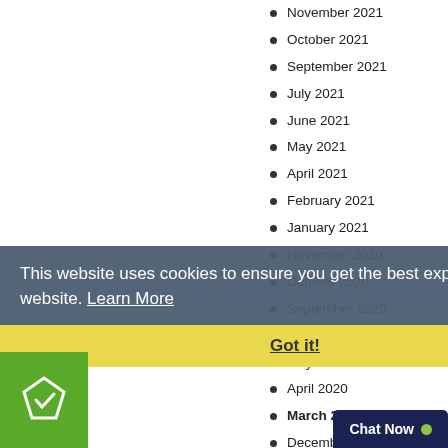November 2021
October 2021
September 2021
July 2021
June 2021
May 2021
April 2021
February 2021
January 2021
November 2020
October 2020
September 2020
June 2020
May 2020
April 2020
March 2020
December 2019
November
This website uses cookies to ensure you get the best experience on our website. Learn More
Got it!
Chat Now